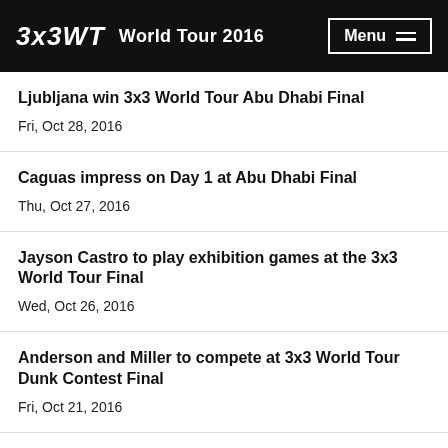3x3WT World Tour 2016 Menu
Ljubljana win 3x3 World Tour Abu Dhabi Final
Fri, Oct 28, 2016
Caguas impress on Day 1 at Abu Dhabi Final
Thu, Oct 27, 2016
Jayson Castro to play exhibition games at the 3x3 World Tour Final
Wed, Oct 26, 2016
Anderson and Miller to compete at 3x3 World Tour Dunk Contest Final
Fri, Oct 21, 2016